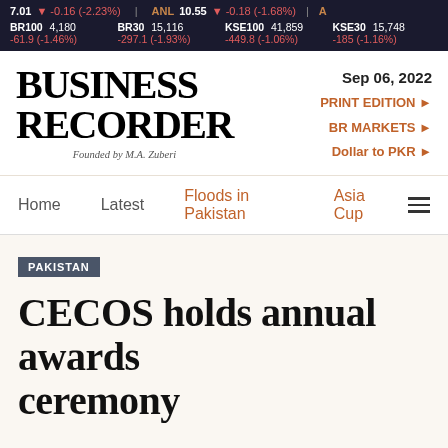7.01 ▼ -0.16 (-2.23%)   ANL 10.55 ▼ -0.18 (-1.68%)   BR100 4,180 -61.9 (-1.46%)   BR30 15,116 -297.1 (-1.93%)   KSE100 41,859 -449.8 (-1.06%)   KSE30 15,748 -185 (-1.16%)
[Figure (logo): Business Recorder logo with text 'BUSINESS RECORDER' and 'Founded by M.A. Zuberi']
Sep 06, 2022
PRINT EDITION ►
BR MARKETS ►
Dollar to PKR ►
Home   Latest   Floods in Pakistan   Asia Cup
PAKISTAN
CECOS holds annual awards ceremony